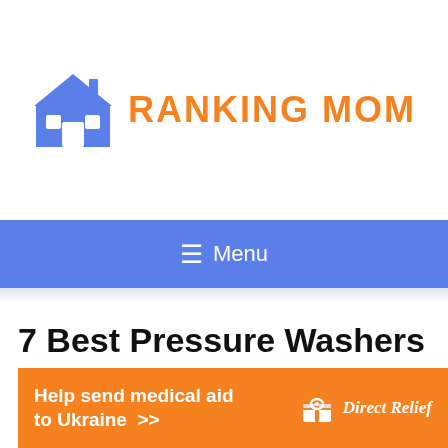[Figure (logo): Ranking Mom logo with blue house icon and orange uppercase text 'RANKING MOM']
☰ Menu
7 Best Pressure Washers Under...
[Figure (infographic): Orange ad banner: 'Help send medical aid to Ukraine >>' with Direct Relief logo on the right]